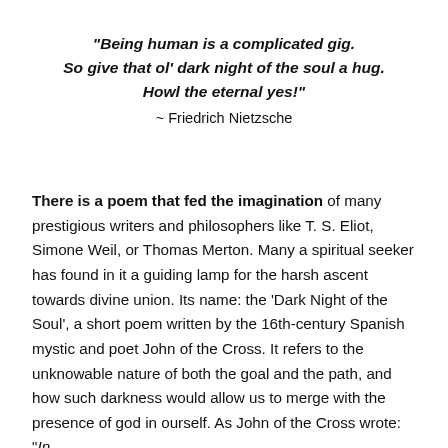"Being human is a complicated gig. So give that ol' dark night of the soul a hug. Howl the eternal yes!" ~ Friedrich Nietzsche
There is a poem that fed the imagination of many prestigious writers and philosophers like T. S. Eliot, Simone Weil, or Thomas Merton. Many a spiritual seeker has found in it a guiding lamp for the harsh ascent towards divine union. Its name: the 'Dark Night of the Soul', a short poem written by the 16th-century Spanish mystic and poet John of the Cross. It refers to the unknowable nature of both the goal and the path, and how such darkness would allow us to merge with the presence of god in ourself. As John of the Cross wrote: "In the dark night of the soul bright flows the river of God."